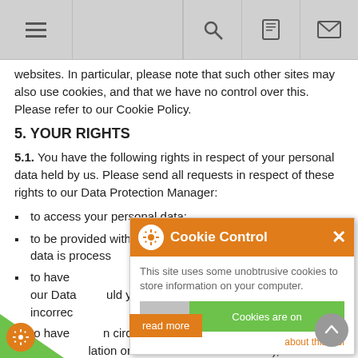Navigation bar with menu, search, mobile, and email icons
websites. In particular, please note that such other sites may also use cookies, and that we have no control over this. Please refer to our Cookie Policy.
5. YOUR RIGHTS
5.1. You have the following rights in respect of your personal data held by us. Please send all requests in respect of these rights to our Data Protection Manager:
to access your personal data;
to be provided with information about how your personal data is processed (including as set out in this Privacy Policy);
to have your personal data rectified if necessary (please contact our Data Protection Manager to do this and should you become aware of any incorrect personal data we hold about you);
to have your personal data erased in certain circumstances (please refer to our Data Protection Manager or the relevant legislation or consult the ICO for details);
to object to or restrict how your personal data is processed;
have your personal data transferred to yourself or to another
[Figure (screenshot): Cookie Control popup overlay with orange header, gear icon, close button, descriptive text, toggle switch showing 'Cookies are on', 'about this tool' link, and 'read more' button]